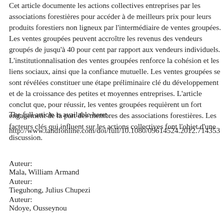Cet article documente les actions collectives entreprises par les associations forestières pour accéder à de meilleurs prix pour leurs produits forestiers non ligneux par l'intermédiaire de ventes groupées. Les ventes groupées peuvent accroître les revenus des vendeurs groupés de jusqu'à 40 pour cent par rapport aux vendeurs individuels. L'institutionnalisation des ventes groupées renforce la cohésion et les liens sociaux, ainsi que la confiance mutuelle. Les ventes groupées se sont révélées constituer une étape préliminaire clé du développement et de la croissance des petites et moyennes entreprises. L'article conclut que, pour réussir, les ventes groupées requièrent un fort engagement de la part des membres des associations forestières. Les facteurs clés qui influent sur les actions collectives font l'objet d'une discussion.
The full article is available here:
http://www.tandfonline.com/doi/full/10.1080/09614524.2012.714353
Auteur:
Mala, William Armand
Auteur:
Tieguhong, Julius Chupezi
Auteur:
Ndoye, Ousseynou